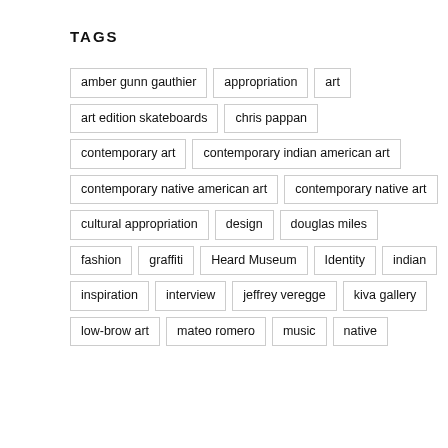TAGS
amber gunn gauthier
appropriation
art
art edition skateboards
chris pappan
contemporary art
contemporary indian american art
contemporary native american art
contemporary native art
cultural appropriation
design
douglas miles
fashion
graffiti
Heard Museum
Identity
indian
inspiration
interview
jeffrey veregge
kiva gallery
low-brow art
mateo romero
music
native